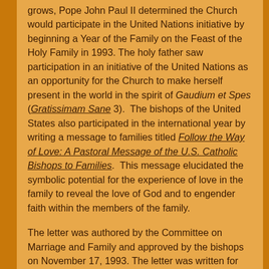grows, Pope John Paul II determined the Church would participate in the United Nations initiative by beginning a Year of the Family on the Feast of the Holy Family in 1993. The holy father saw participation in an initiative of the United Nations as an opportunity for the Church to make herself present in the world in the spirit of Gaudium et Spes (Gratissimam Sane 3). The bishops of the United States also participated in the international year by writing a message to families titled Follow the Way of Love: A Pastoral Message of the U.S. Catholic Bishops to Families. This message elucidated the symbolic potential for the experience of love in the family to reveal the love of God and to engender faith within the members of the family.
The letter was authored by the Committee on Marriage and Family and approved by the bishops on November 17, 1993. The letter was written for